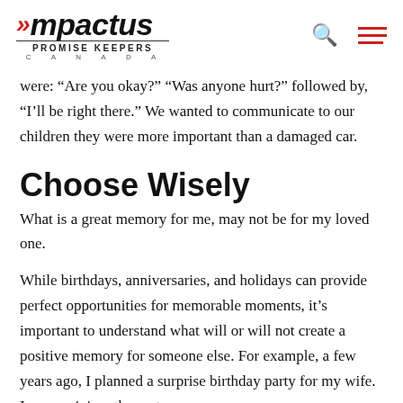Impactus Promise Keepers Canada
were: “Are you okay?” “Was anyone hurt?” followed by, “I’ll be right there.” We wanted to communicate to our children they were more important than a damaged car.
Choose Wisely
What is a great memory for me, may not be for my loved one.
While birthdays, anniversaries, and holidays can provide perfect opportunities for memorable moments, it’s important to understand what will or will not create a positive memory for someone else. For example, a few years ago, I planned a surprise birthday party for my wife. In my opinion, the party